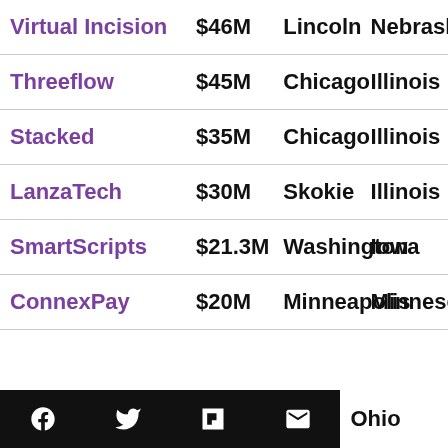| Company | Amount | City | State |
| --- | --- | --- | --- |
| Virtual Incision | $46M | Lincoln | Nebraska |
| Threeflow | $45M | Chicago | Illinois |
| Stacked | $35M | Chicago | Illinois |
| LanzaTech | $30M | Skokie | Illinois |
| SmartScripts | $21.3M | Washington | Iowa |
| ConnexPay | $20M | Minneapolis | Minnesota |
Social share icons (Facebook, Twitter, Flipboard, Email) | Ohio